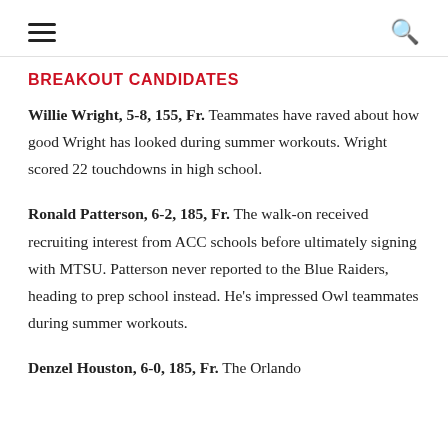☰  🔍
BREAKOUT CANDIDATES
Willie Wright, 5-8, 155, Fr. Teammates have raved about how good Wright has looked during summer workouts. Wright scored 22 touchdowns in high school.
Ronald Patterson, 6-2, 185, Fr. The walk-on received recruiting interest from ACC schools before ultimately signing with MTSU. Patterson never reported to the Blue Raiders, heading to prep school instead. He's impressed Owl teammates during summer workouts.
Denzel Houston, 6-0, 185, Fr. The Orlando